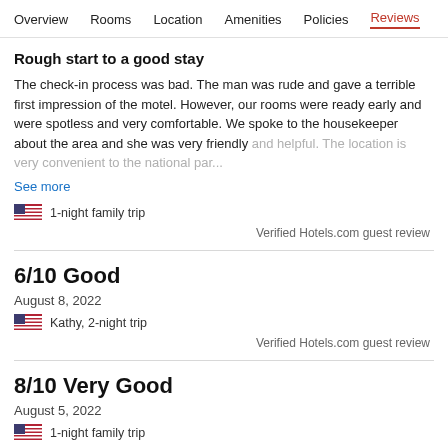Overview  Rooms  Location  Amenities  Policies  Reviews
Rough start to a good stay
The check-in process was bad. The man was rude and gave a terrible first impression of the motel. However, our rooms were ready early and were spotless and very comfortable. We spoke to the housekeeper about the area and she was very friendly and helpful. The location is very convenient to the national par...
See more
1-night family trip
Verified Hotels.com guest review
6/10 Good
August 8, 2022
Kathy, 2-night trip
Verified Hotels.com guest review
8/10 Very Good
August 5, 2022
1-night family trip